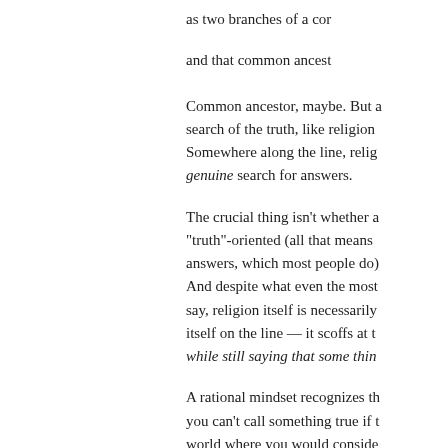as two branches of a com- and that common ancest-
Common ancestor, maybe. But a search of the truth, like religion Somewhere along the line, relig- genuine search for answers.
The crucial thing isn't whether a "truth"-oriented (all that means answers, which most people do) And despite what even the most say, religion itself is necessarily itself on the line — it scoffs at t- while still saying that some thing-
A rational mindset recognizes th- you can't call something true if t- world where you would conside-